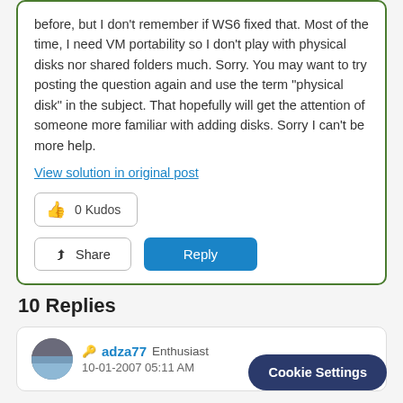before, but I don't remember if WS6 fixed that. Most of the time, I need VM portability so I don't play with physical disks nor shared folders much. Sorry. You may want to try posting the question again and use the term "physical disk" in the subject. That hopefully will get the attention of someone more familiar with adding disks. Sorry I can't be more help.
View solution in original post
0 Kudos
Share
Reply
10 Replies
adza77  Enthusiast  10-01-2007 05:11 AM
Cookie Settings